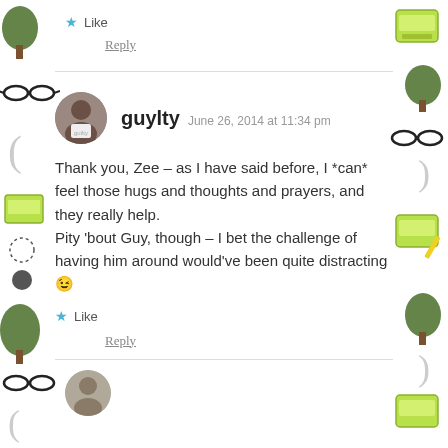★ Like
Reply
guylty  June 26, 2014 at 11:34 pm
Thank you, Zee – as I have said before, I *can* feel those hugs and thoughts and prayers, and they really help.
Pity 'bout Guy, though – I bet the challenge of having him around would've been quite distracting 😉
★ Like
Reply